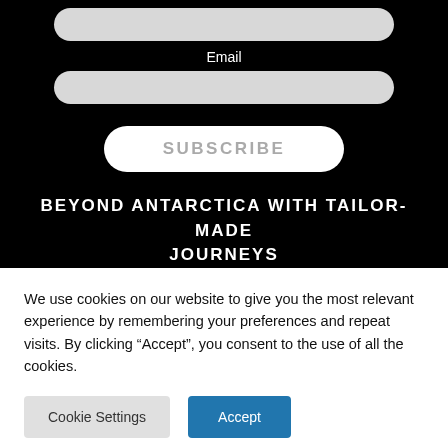[Figure (screenshot): Input field (rounded rectangle, light gray) for a form]
Email
[Figure (screenshot): Second input field (rounded rectangle, light gray) for email]
[Figure (screenshot): Subscribe button (white rounded rectangle with gray uppercase text SUBSCRIBE)]
BEYOND ANTARCTICA WITH TAILOR-MADE JOURNEYS
We use cookies on our website to give you the most relevant experience by remembering your preferences and repeat visits. By clicking “Accept”, you consent to the use of all the cookies.
Cookie Settings
Accept